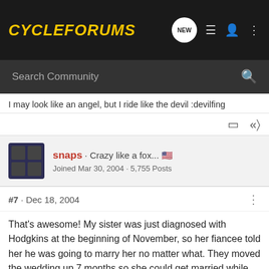CycleForums
Search Community
I may look like an angel, but I ride like the devil :devilfing
snaps · Crazy like a fox... 🇺🇸
Joined Mar 30, 2004 · 5,755 Posts
#7 · Dec 18, 2004
That's awesome! My sister was just diagnosed with Hodgkins at the beginning of November, so her fiancee told her he was going to marry her no matter what. They moved the wedding up 7 months so she could get married while she still had all her hair and felt healthy. I love happy news like this! Congrats to your sister, Jay!